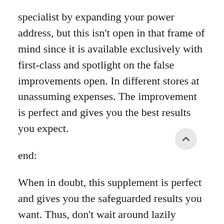specialist by expanding your power address, but this isn't open in that frame of mind since it is available exclusively with first-class and spotlight on the false improvements open. In different stores at unassuming expenses. The improvement is perfect and gives you the best results you expect.
end:
When in doubt, this supplement is perfect and gives you the safeguarded results you want. Thus, don't wait around lazily contemplating it or it is an optimal response for getting back in shape and the best thing is that it is sensible for all